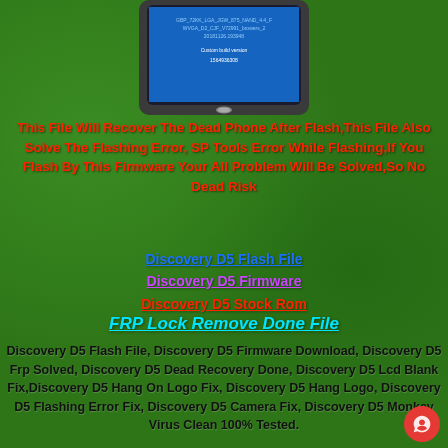[Figure (photo): Photograph of a Samsung Galaxy smartphone displaying build/firmware information on its screen, shown against a green grass background]
This File Will Recover The Dead Phone After Flash,This File Also Solve The Flashing Error, SP Tools Error While Flashing,If You Flash By This Firmware Your All Problem Will Be Solved,So No Dead Risk
Discovery D5 Flash File
Discovery D5 Firmware
Discovery D5 Stock Rom
FRP Lock Remove Done File
Discovery D5 Flash File, Discovery D5 Firmware Download, Discovery D5 Frp Solved, Discovery D5 Dead Recovery Done, Discovery D5 Lcd Blank Fix,Discovery D5 Hang On Logo Fix, Discovery D5 Hang Logo, Discovery D5 Flashing Error Fix, Discovery D5 Camera Fix, Discovery D5 Monkey Virus Clean 100% Tested.